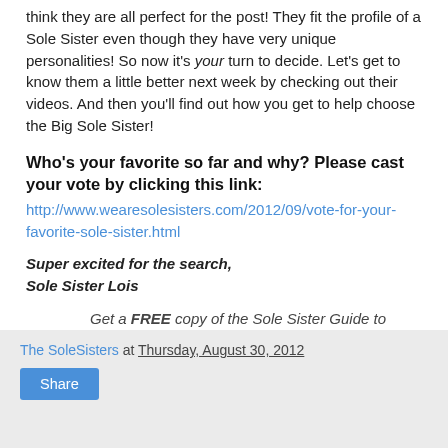think they are all perfect for the post! They fit the profile of a Sole Sister even though they have very unique personalities! So now it's your turn to decide. Let's get to know them a little better next week by checking out their videos. And then you'll find out how you get to help choose the Big Sole Sister!
Who's your favorite so far and why? Please cast your vote by clicking this link: http://www.wearesolesisters.com/2012/09/vote-for-your-favorite-sole-sister.html
Super excited for the search,
Sole Sister Lois
Get a FREE copy of the Sole Sister Guide to Planning an Epic Trip by subscribing to our newsletter. You can also hang out with us online on Twitter, Facebook & Stumble Upon.
The SoleSisters at Thursday, August 30, 2012
Share